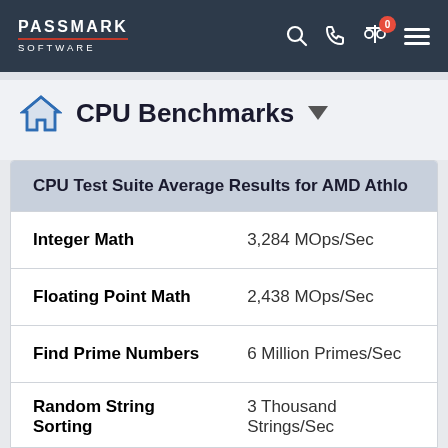PassMark Software — Navigation bar with logo, search, phone, compare (0), and menu icons
CPU Benchmarks
| CPU Test Suite Average Results for AMD Athlo… |  |
| --- | --- |
| Integer Math | 3,284 MOps/Sec |
| Floating Point Math | 2,438 MOps/Sec |
| Find Prime Numbers | 6 Million Primes/Sec |
| Random String Sorting | 3 Thousand Strings/Sec |